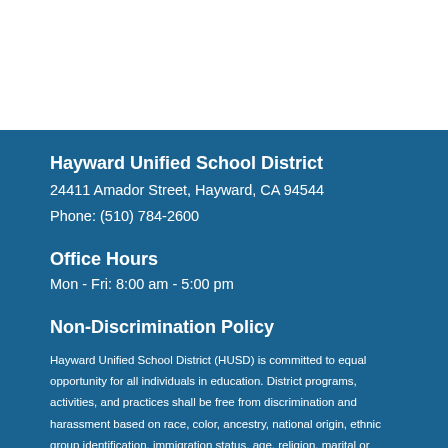Hayward Unified School District
24411 Amador Street, Hayward, CA 94544
Phone: (510) 784-2600
Office Hours
Mon - Fri: 8:00 am - 5:00 pm
Non-Discrimination Policy
Hayward Unified School District (HUSD) is committed to equal opportunity for all individuals in education. District programs, activities, and practices shall be free from discrimination and harassment based on race, color, ancestry, national origin, ethnic group identification, immigration status, age, religion, marital or parental status, military or veteran status, pregnancy status, physical or mental disability, sex, sexual